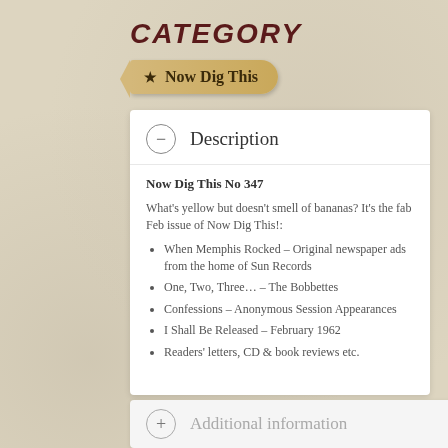CATEGORY
★  Now Dig This
Description
Now Dig This No 347
What's yellow but doesn't smell of bananas? It's the fab Feb issue of Now Dig This!:
When Memphis Rocked – Original newspaper ads from the home of Sun Records
One, Two, Three… – The Bobbettes
Confessions – Anonymous Session Appearances
I Shall Be Released – February 1962
Readers' letters, CD & book reviews etc.
Additional information